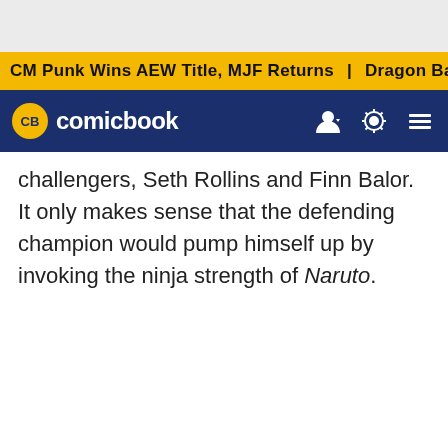CM Punk Wins AEW Title, MJF Returns | Dragon Ball Anime R
[Figure (logo): ComicBook.com logo with CB badge in yellow circle on dark blue navigation bar]
challengers, Seth Rollins and Finn Balor. It only makes sense that the defending champion would pump himself up by invoking the ninja strength of Naruto.